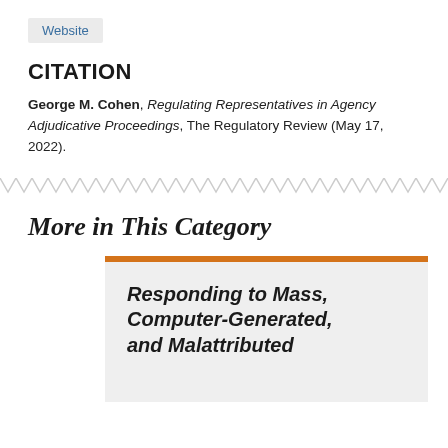Website
CITATION
George M. Cohen, Regulating Representatives in Agency Adjudicative Proceedings, The Regulatory Review (May 17, 2022).
More in This Category
Responding to Mass, Computer-Generated, and Malattributed